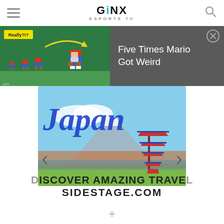GINX ESPORTS TV
[Figure (screenshot): GINX Esports TV website screenshot showing a Mario-themed notification bar overlay reading 'Five Times Mario Got Weird' with a close button, over a Japan travel advertisement banner with pagoda and Mount Fuji imagery, text 'DISCOVER AMAZING TRAVEL SIDESTAGE.COM']
Five Times Mario Got Weird
DISCOVER AMAZING TRAVEL
SIDESTAGE.COM